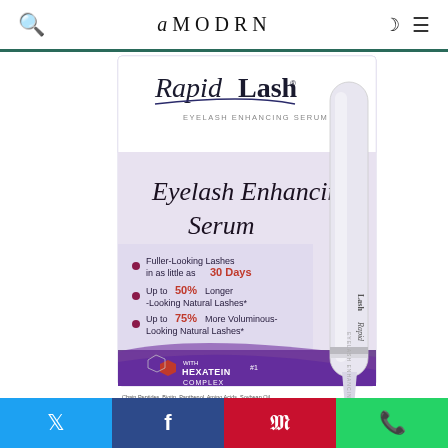amodrn
[Figure (photo): RapidLash Eyelash Enhancing Serum product box and applicator pen. Box shows text: Eyelash Enhancing Serum, Fuller-Looking Lashes in as little as 30 Days, Up to 50% Longer-Looking Natural Lashes*, Up to 75% More Voluminous-Looking Natural Lashes*. Features HEXATEIN#1 COMPLEX branding at bottom with purple swoosh design.]
Twitter share | Facebook share | Pinterest share | WhatsApp share